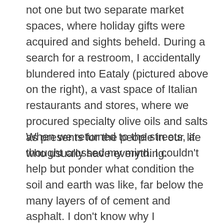not one but two separate market spaces, where holiday gifts were acquired and sights beheld. During a search for a restroom, I accidentally blundered into Eataly (pictured above on the right), a vast space of Italian restaurants and stores, where we procured specialty olive oils and salts as presents for the people in our life who usually have everything.
When we returned to the streets, a thought crossed my mind. I couldn't help but ponder what condition the soil and earth was like, far below the many layers of of cement and asphalt. I don't know why I considered this. Perhaps it was simply from looking at Manhattan both on a map and the street. While the district is technically an island, the city has developed over the northern bodies of water that make it so. Thus the metropolis itself could be considered a peninsula, while the